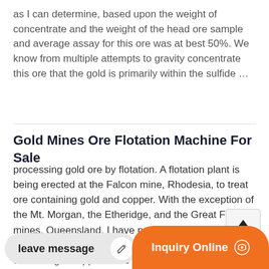as I can determine, based upon the weight of concentrate and the weight of the head ore sample and average assay for this ore was at best 50%. We know from multiple attempts to gravity concentrate this ore that the gold is primarily within the sulfide …
Gold Mines Ore Flotation Machine For Sale
processing gold ore by flotation. A flotation plant is being erected at the Falcon mine, Rhodesia, to treat ore containing gold and copper. With the exception of the Mt. Morgan, the Etheridge, and the Great Fitzroy mines, Queensland, I have not heard of the flotation process being used successfully to treat ore containing an appreciable amount of gold.
leave message
Inquiry Online